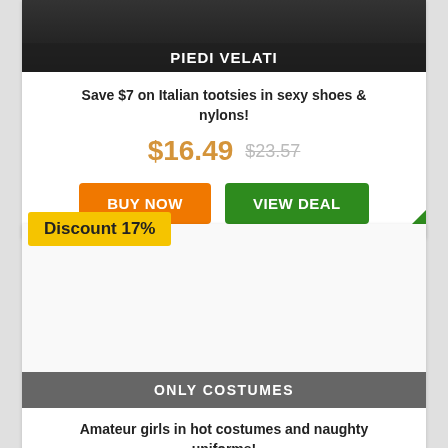[Figure (photo): Dark/black background image at top of card, partially cropped]
PIEDI VELATI
Save $7 on Italian tootsies in sexy shoes & nylons!
$16.49  $23.57
BUY NOW
VIEW DEAL
Discount 17%
[Figure (photo): White/empty image area for second product card]
ONLY COSTUMES
Amateur girls in hot costumes and naughty uniforms!